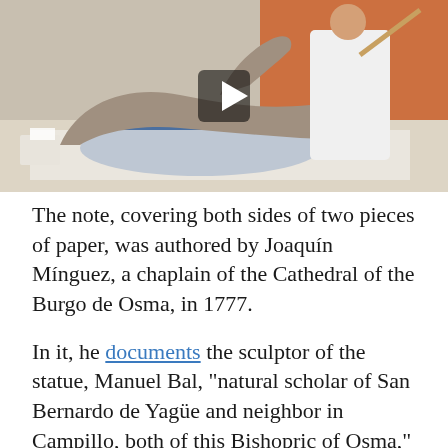[Figure (photo): Photo/video still of a conservator in a white lab coat working on a clay or plaster sculpture of a figure lying on a table, with a play button overlay indicating it is a video thumbnail.]
The note, covering both sides of two pieces of paper, was authored by Joaquín Mínguez, a chaplain of the Cathedral of the Burgo de Osma, in 1777.
In it, he documents the sculptor of the statue, Manuel Bal, "natural scholar of San Bernardo de Yagüe and neighbor in Campillo, both of this Bishopric of Osma," and notes that Bal carved five other statues for the main altar of the church of Sotillo de la Ribera  - Santa Águeda and the saints Santiago, Millán, Jerónimo, and Juan.